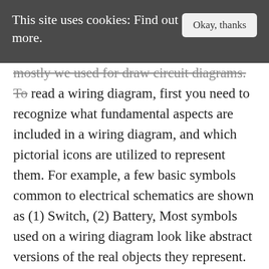This site uses cookies: Find out more.  Okay, thanks
mostly we used for draw circuit diagrams. To read a wiring diagram, first you need to recognize what fundamental aspects are included in a wiring diagram, and which pictorial icons are utilized to represent them. For example, a few basic symbols common to electrical schematics are shown as (1) Switch, (2) Battery, Most symbols used on a wiring diagram look like abstract versions of the real objects they represent. 3. A good wiring diagram has to communicate information quickly, clearly, and with a low chance of misunderstanding. A pictorial representation would certainly show much more